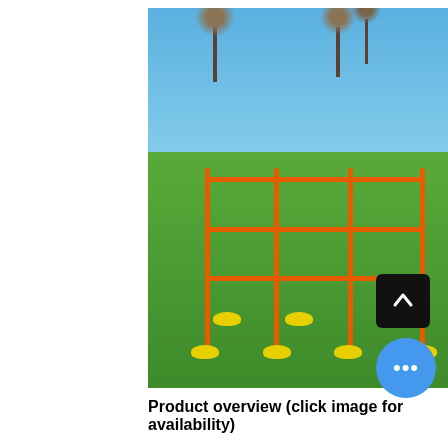[Figure (photo): Outdoor photo of an orange hurdle/agility ladder training kit on a grass football field. Multiple vertical orange poles connected by horizontal orange bars form a grid structure, with yellow dome-shaped bases at the bottom. Trees are visible in the background under a blue sky, with a red stadium stand visible behind the field.]
Product overview (click image for availability)
PowerShot's hurdle kit is a step up from the previous product. They enable you to set some serious height jumps (see image above). And you're able to jump with confidence thanks to the flexi-material and loose-fitting